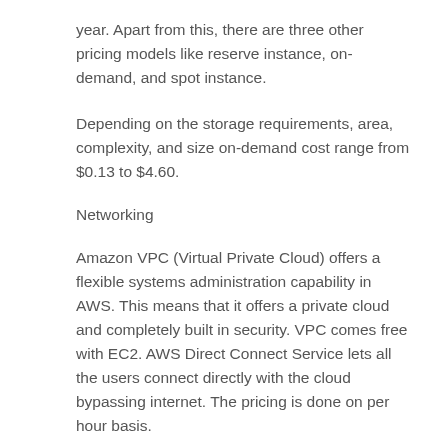year. Apart from this, there are three other pricing models like reserve instance, on-demand, and spot instance.
Depending on the storage requirements, area, complexity, and size on-demand cost range from $0.13 to $4.60.
Networking
Amazon VPC (Virtual Private Cloud) offers a flexible systems administration capability in AWS. This means that it offers a private cloud and completely built in security. VPC comes free with EC2. AWS Direct Connect Service lets all the users connect directly with the cloud bypassing internet. The pricing is done on per hour basis.
Storage